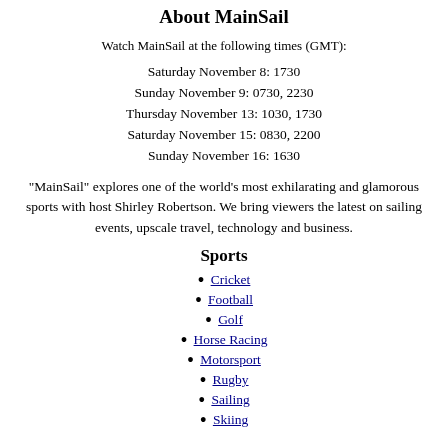About MainSail
Watch MainSail at the following times (GMT):
Saturday November 8: 1730
Sunday November 9: 0730, 2230
Thursday November 13: 1030, 1730
Saturday November 15: 0830, 2200
Sunday November 16: 1630
"MainSail" explores one of the world's most exhilarating and glamorous sports with host Shirley Robertson. We bring viewers the latest on sailing events, upscale travel, technology and business.
Sports
Cricket
Football
Golf
Horse Racing
Motorsport
Rugby
Sailing
Skiing